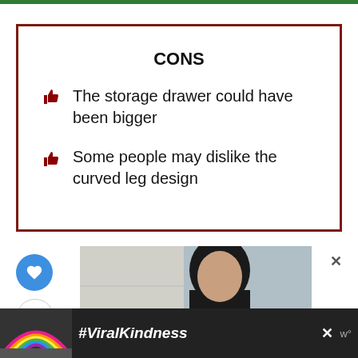CONS
The storage drawer could have been bigger
Some people may dislike the curved leg design
[Figure (photo): Partial photo of a woman with dark hair, background blurred]
[Figure (infographic): Bottom advertisement bar with rainbow illustration and #ViralKindness hashtag text on dark background]